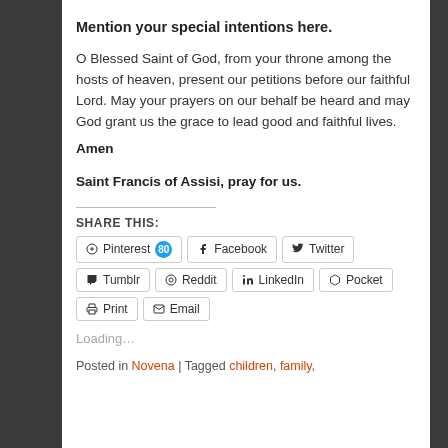Mention your special intentions here.
O Blessed Saint of God, from your throne among the hosts of heaven, present our petitions before our faithful Lord. May your prayers on our behalf be heard and may God grant us the grace to lead good and faithful lives.
Amen
Saint Francis of Assisi, pray for us.
SHARE THIS:
Pinterest 80  Facebook  Twitter  Tumblr  Reddit  LinkedIn  Pocket  Print  Email
Loading...
Posted in Novena | Tagged children, family,